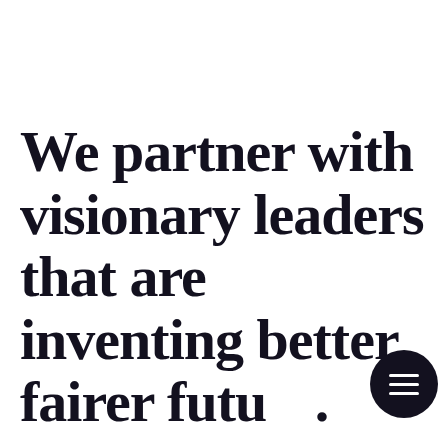We partner with visionary leaders that are inventing better, fairer future.
[Figure (other): Dark circular menu/navigation button with three horizontal white lines (hamburger icon), positioned at bottom right overlapping the title text]